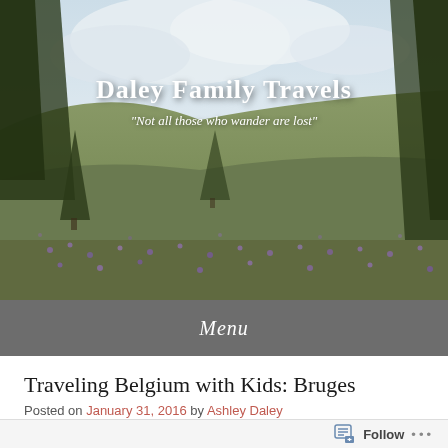[Figure (photo): Outdoor scenic meadow with purple wildflowers, green grass, scattered evergreen trees on hillside, cloudy sky in background. Serves as blog header image.]
Daley Family Travels
"Not all those who wander are lost"
Menu
Traveling Belgium with Kids: Bruges
Posted on January 31, 2016 by Ashley Daley